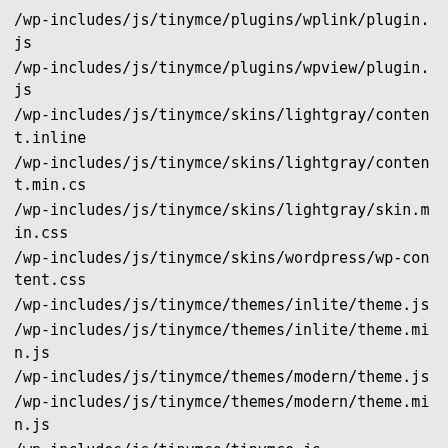/wp-includes/js/tinymce/plugins/wplink/plugin.js
/wp-includes/js/tinymce/plugins/wpview/plugin.js
/wp-includes/js/tinymce/skins/lightgray/content.inline
/wp-includes/js/tinymce/skins/lightgray/content.min.cs
/wp-includes/js/tinymce/skins/lightgray/skin.min.css
/wp-includes/js/tinymce/skins/wordpress/wp-content.css
/wp-includes/js/tinymce/themes/inlite/theme.js
/wp-includes/js/tinymce/themes/inlite/theme.min.js
/wp-includes/js/tinymce/themes/modern/theme.js
/wp-includes/js/tinymce/themes/modern/theme.min.js
/wp-includes/js/tinymce/tinymce.js
/wp-includes/js/tinymce/tinymce.min.js
/wp-includes/js/twemoji.js
/wp-includes/js/wp-emoji-loader.js